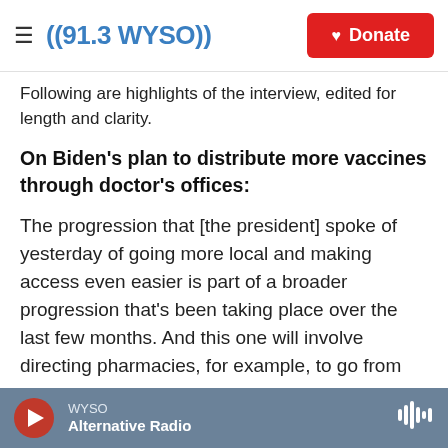((91.3 WYSO)) Donate
Following are highlights of the interview, edited for length and clarity.
On Biden's plan to distribute more vaccines through doctor's offices:
The progression that [the president] spoke of yesterday of going more local and making access even easier is part of a broader progression that's been taking place over the last few months. And this one will involve directing pharmacies, for example, to go from appointments only to offering walk-ins so that you can get vaccinated on your schedule instead of someone else's schedule.
WYSO Alternative Radio